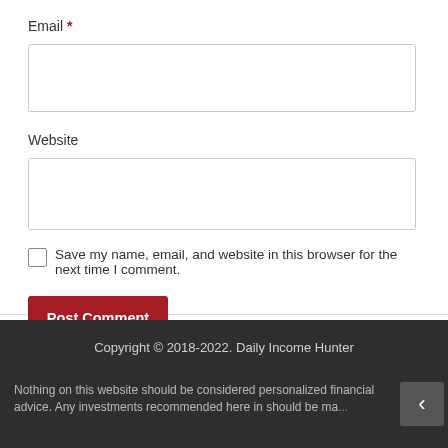Email *
Website
Save my name, email, and website in this browser for the next time I comment.
Post Comment
Copyright © 2018-2022. Daily Income Hunter
Nothing on this website should be considered personalized financial advice. Any investments recommended here in should be made after consulting with your personal investment advisor and on...